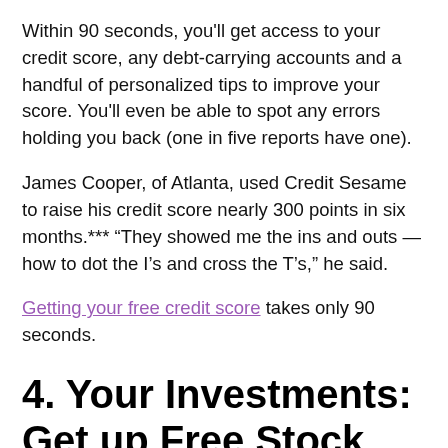Within 90 seconds, you'll get access to your credit score, any debt-carrying accounts and a handful of personalized tips to improve your score. You'll even be able to spot any errors holding you back (one in five reports have one).
James Cooper, of Atlanta, used Credit Sesame to raise his credit score nearly 300 points in six months.*** “They showed me the ins and outs — how to dot the I’s and cross the T’s,” he said.
Getting your free credit score takes only 90 seconds.
4. Your Investments: Get up Free Stock
If you have investments, you likely have a broker — someone who manages your investments and offers advice. If you’ve worked with them for years, you might not even notice that